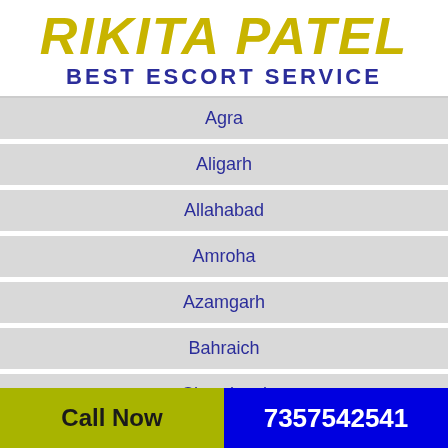RIKITA PATEL BEST ESCORT SERVICE
Agra
Aligarh
Allahabad
Amroha
Azamgarh
Bahraich
Chandausi
Call Now  7357542541